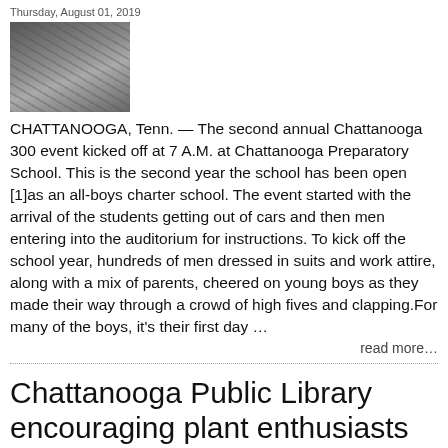Thursday, August 01, 2019
[Figure (photo): Outdoor crowd scene with people, one person in blue shirt visible]
CHATTANOOGA, Tenn. — The second annual Chattanooga 300 event kicked off at 7 A.M. at Chattanooga Preparatory School. This is the second year the school has been open [1]as an all-boys charter school. The event started with the arrival of the students getting out of cars and then men entering into the auditorium for instructions. To kick off the school year, hundreds of men dressed in suits and work attire, along with a mix of parents, cheered on young boys as they made their way through a crowd of high fives and clapping.For many of the boys, it's their first day …
read more…
Chattanooga Public Library encouraging plant enthusiasts with free seed exchange